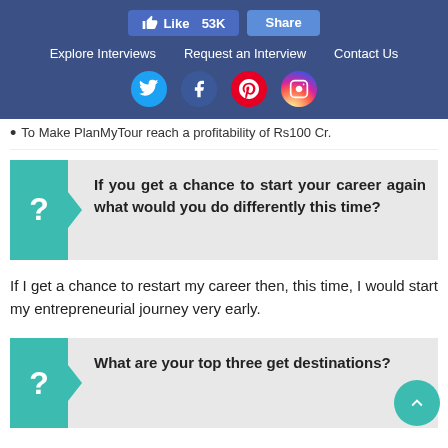Like 53K | Share | Explore Interviews | Request an Interview | Contact Us
To Make PlanMyTour reach a profitability of Rs100 Cr.
If you get a chance to start your career again what would you do differently this time?
If I get a chance to restart my career then, this time, I would start my entrepreneurial journey very early.
What are your top three get destinations?